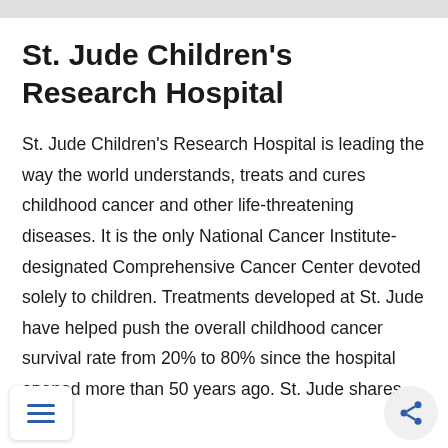St. Jude Children's Research Hospital
St. Jude Children's Research Hospital is leading the way the world understands, treats and cures childhood cancer and other life-threatening diseases. It is the only National Cancer Institute-designated Comprehensive Cancer Center devoted solely to children. Treatments developed at St. Jude have helped push the overall childhood cancer survival rate from 20% to 80% since the hospital opened more than 50 years ago. St. Jude shares the